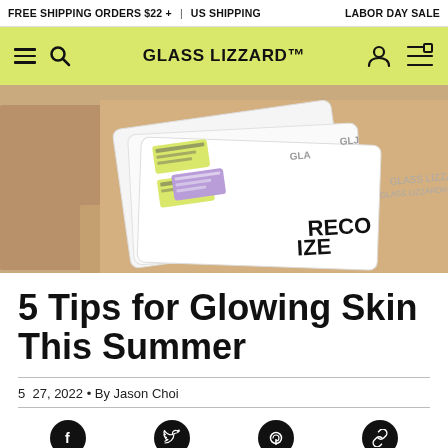FREE SHIPPING ORDERS $22 + | US SHIPPING | LABOR DAY SALE
GLASS LIZZARD™
[Figure (photo): Open cardboard shipping box with white Glass Lizzard skincare product packets inside, some labeled RECOGNIZE, with yellow and purple sticker labels on them.]
5 Tips for Glowing Skin This Summer
5  27, 2022 • By Jason Choi